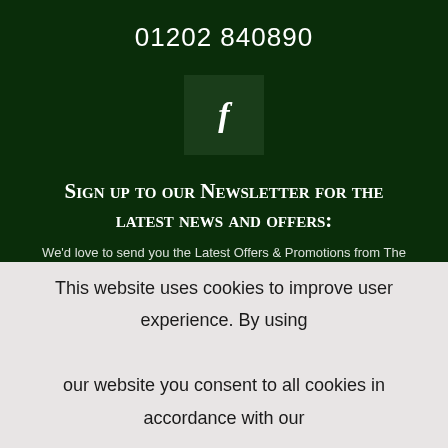01202 840890
[Figure (logo): Facebook logo icon: white letter f on dark green background square]
Sign up to our Newsletter for the latest news and offers:
We'd love to send you the Latest Offers & Promotions from The
This website uses cookies to improve user experience. By using our website you consent to all cookies in accordance with our Cookie Policy. Read more
I agree
I disagree